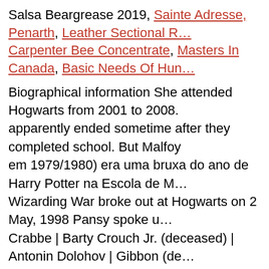Salsa Beargrease 2019, Sainte Adresse, Penarth, Leather Sectional R…, Carpenter Bee Concentrate, Masters In Canada, Basic Needs Of Hun…
Biographical information She attended Hogwarts from 2001 to 2008. apparently ended sometime after they completed school. But Malfoy em 1979/1980) era uma bruxa do ano de Harry Potter na Escola de M… Wizarding War broke out at Hogwarts on 2 May, 1998 Pansy spoke u… Crabbe | Barty Crouch Jr. (deceased) | Antonin Dolohov | Gibbon (de… Rabastan Lestrange | Rodolphus Lestrange | Walden Macnair | Mulci… Thorfinn Rowle | Selwyn | Merula Snyde's father | Merula Snyde's m… Igor Karkaroff (deceased) | Draco Malfoy | Lucius Malfoy | Peter Pet… Golgomath | Gregory Goyle | Fenrir Greyback | Mafalda Hopkirk | N… Runcorn | Scabior | Serpent of Slytherin | Pius Thicknesse (Imperiuse… Voldemort's control) | Dementors | Draco Malfoy's gang | Tom Riddle… Commission | Theodore Nott (possibly) | Snatchers | Werewolf army,… Voldemort's control) | The Cave | Chamber of Secrets | Forbidden Fo…